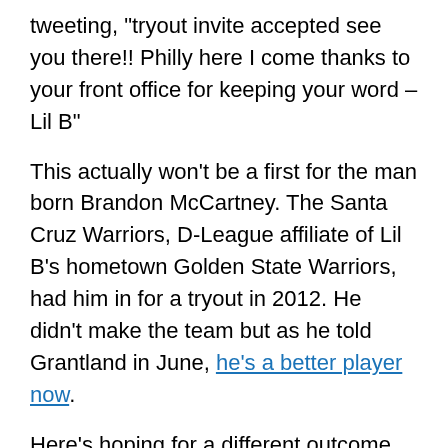tweeting, "tryout invite accepted see you there!! Philly here I come thanks to your front office for keeping your word – Lil B"
This actually won't be a first for the man born Brandon McCartney. The Santa Cruz Warriors, D-League affiliate of Lil B's hometown Golden State Warriors, had him in for a tryout in 2012. He didn't make the team but as he told Grantland in June, he's a better player now.
Here's hoping for a different outcome this time around, if only to see Lil B raise from the D League and compete against his enemies Kevin Durant and James Harden. Gotta say though, after watching the video below, doesn't seem like there's much to be confident about.